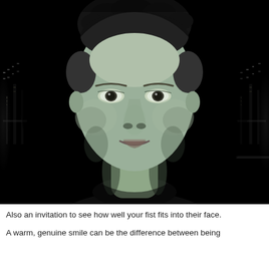[Figure (photo): Black and white portrait photo of a young man with curly hair, smiling slightly, against a dark background with city lights visible on the sides.]
Also an invitation to see how well your fist fits into their face.
A warm, genuine smile can be the difference between being